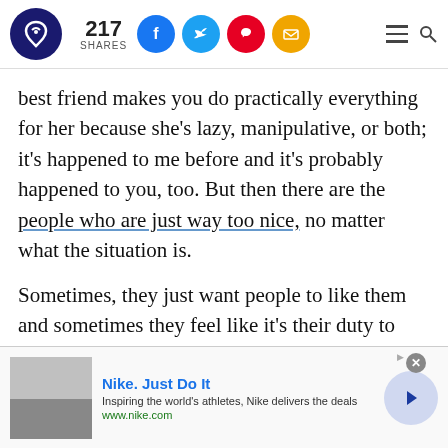217 SHARES [social icons: Facebook, Twitter, Pinterest, Email] [hamburger menu] [search]
best friend makes you do practically everything for her because she’s lazy, manipulative, or both; it’s happened to me before and it’s probably happened to you, too. But then there are the people who are just way too nice, no matter what the situation is.
Sometimes, they just want people to like them and sometimes they feel like it’s their duty to help everyone who comes their way, but
[Figure (screenshot): Nike advertisement banner: Nike. Just Do It — Inspiring the world’s athletes, Nike delivers the deals. www.nike.com]